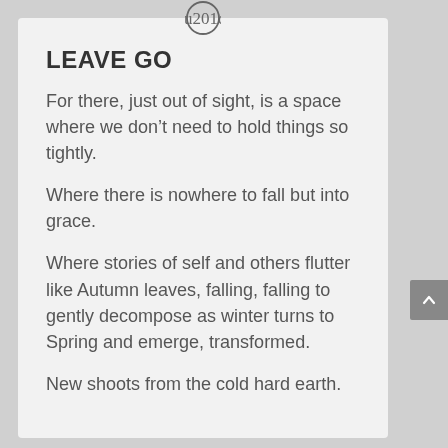[Figure (illustration): Circle icon with double closing quotation marks inside, centered at top of card]
LEAVE GO
For there, just out of sight, is a space where we don’t need to hold things so tightly.
Where there is nowhere to fall but into grace.
Where stories of self and others flutter like Autumn leaves, falling, falling to gently decompose as winter turns to Spring and emerge, transformed.
New shoots from the cold hard earth.